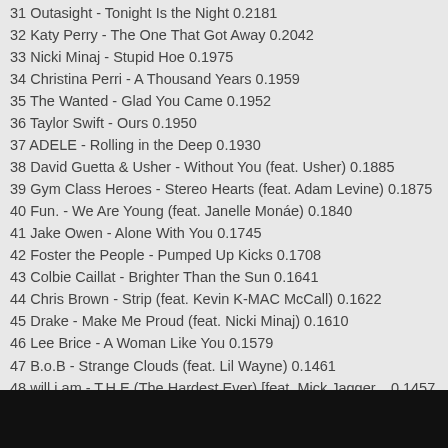31 Outasight - Tonight Is the Night 0.2181
32 Katy Perry - The One That Got Away 0.2042
33 Nicki Minaj - Stupid Hoe 0.1975
34 Christina Perri - A Thousand Years 0.1959
35 The Wanted - Glad You Came 0.1952
36 Taylor Swift - Ours 0.1950
37 ADELE - Rolling in the Deep 0.1930
38 David Guetta & Usher - Without You (feat. Usher) 0.1885
39 Gym Class Heroes - Stereo Hearts (feat. Adam Levine) 0.1875
40 Fun. - We Are Young (feat. Janelle Monáe) 0.1840
41 Jake Owen - Alone With You 0.1745
42 Foster the People - Pumped Up Kicks 0.1708
43 Colbie Caillat - Brighter Than the Sun 0.1641
44 Chris Brown - Strip (feat. Kevin K-MAC McCall) 0.1622
45 Drake - Make Me Proud (feat. Nicki Minaj) 0.1610
46 Lee Brice - A Woman Like You 0.1579
47 B.o.B - Strange Clouds (feat. Lil Wayne) 0.1461
48 will.i.am - T.H.E (The Hardest Ever) [feat. Mick Jagger... 0.1457
49 Chris Young - You 0.1438
50 Jason Mraz - I Won't Give Up 0.1364
51 Skrillex - Kyoto (feat. Sirah) 0.1345
52 Ingrid Michaelson - Fire 0.1343
53 Lady Antebellum - Just a Kiss 0.1314
54 OneRepublic - Good Life 0.1313
55 Drake - Headlines 0.1312
56 Train - Drive By 0.1294